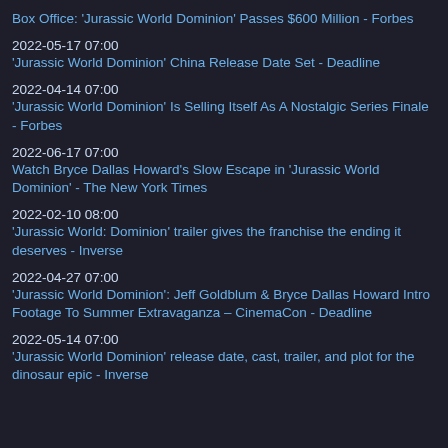Box Office: 'Jurassic World Dominion' Passes $600 Million - Forbes
2022-05-17 07:00
'Jurassic World Dominion' China Release Date Set - Deadline
2022-04-14 07:00
'Jurassic World Dominion' Is Selling Itself As A Nostalgic Series Finale - Forbes
2022-06-17 07:00
Watch Bryce Dallas Howard's Slow Escape in 'Jurassic World Dominion' - The New York Times
2022-02-10 08:00
'Jurassic World: Dominion' trailer gives the franchise the ending it deserves - Inverse
2022-04-27 07:00
'Jurassic World Dominion': Jeff Goldblum & Bryce Dallas Howard Intro Footage To Summer Extravaganza – CinemaCon - Deadline
2022-05-14 07:00
'Jurassic World Dominion' release date, cast, trailer, and plot for the dinosaur epic - Inverse